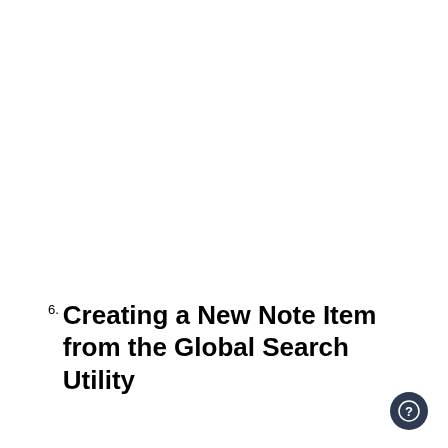6. Creating a New Note Item from the Global Search Utility